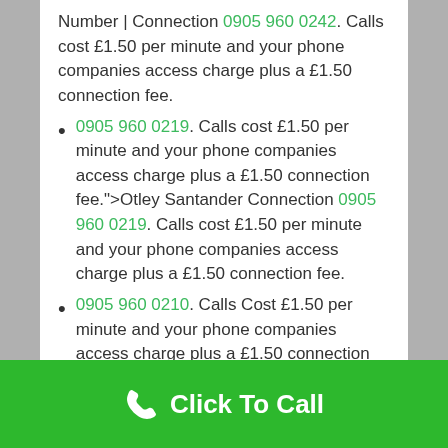Number | Connection 0905 960 0242. Calls cost £1.50 per minute and your phone companies access charge plus a £1.50 connection fee.
0905 960 0219. Calls cost £1.50 per minute and your phone companies access charge plus a £1.50 connection fee.">Otley Santander Connection 0905 960 0219. Calls cost £1.50 per minute and your phone companies access charge plus a £1.50 connection fee.
0905 960 0210. Calls Cost £1.50 per minute and your phone companies access charge plus a £1.50 connection fee.">Emsworth Barclays Bank Connection
Click To Call